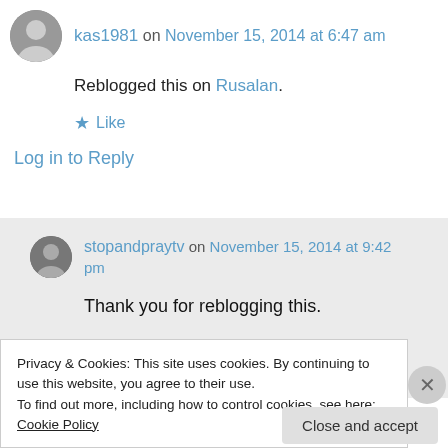kas1981 on November 15, 2014 at 6:47 am
Reblogged this on Rusalan.
★ Like
Log in to Reply
stopandpraytv on November 15, 2014 at 9:42 pm
Thank you for reblogging this.
Privacy & Cookies: This site uses cookies. By continuing to use this website, you agree to their use.
To find out more, including how to control cookies, see here: Cookie Policy